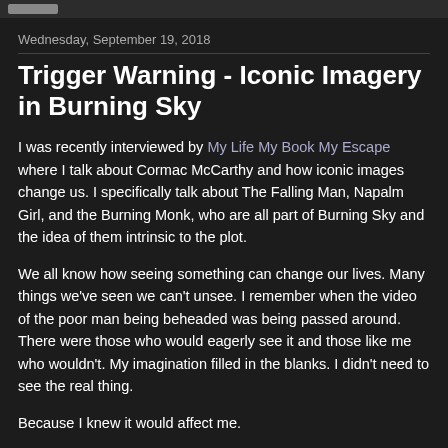Wednesday, September 19, 2018
Trigger Warning - Iconic Imagery in Burning Sky
I was recently interviewed by My Life My Book My Escape where I talk about Cormac McCarthy and how iconic images change us. I specifically talk about The Falling Man, Napalm Girl, and the Burning Monk, who are all part of Burning Sky and the idea of them intrinsic to the plot.
We all know how seeing something can change our lives. Many things we've seen we can't unsee. I remember when the video of the poor man being beheaded was being passed around. There were those who would eagerly see it and those like me who wouldn't. My imagination filled in the blanks. I didn't need to see the real thing.
Because I knew it would affect me.